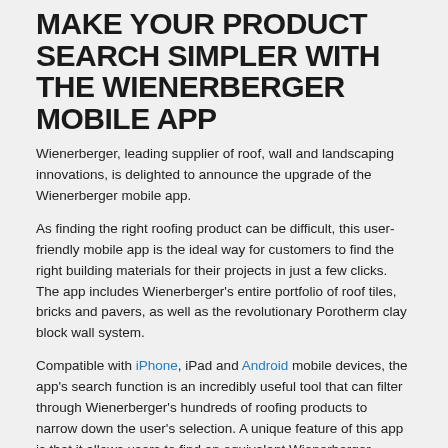MAKE YOUR PRODUCT SEARCH SIMPLER WITH THE WIENERBERGER MOBILE APP
Wienerberger, leading supplier of roof, wall and landscaping innovations, is delighted to announce the upgrade of the Wienerberger mobile app.
As finding the right roofing product can be difficult, this user-friendly mobile app is the ideal way for customers to find the right building materials for their projects in just a few clicks. The app includes Wienerberger's entire portfolio of roof tiles, bricks and pavers, as well as the revolutionary Porotherm clay block wall system.
Compatible with iPhone, iPad and Android mobile devices, the app's search function is an incredibly useful tool that can filter through Wienerberger's hundreds of roofing products to narrow down the user's selection. A unique feature of this app is that it allows users to find an equivalent Wienerberger product match when they enter the name of a roof tile, brick or